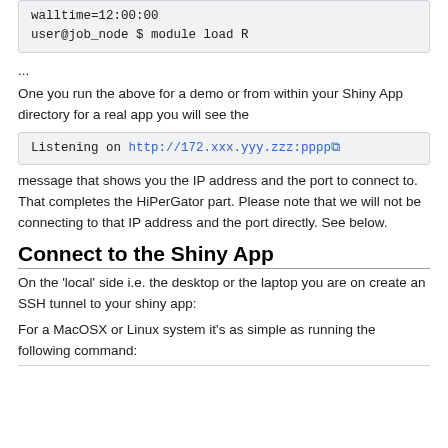[Figure (screenshot): Code block showing: walltime=12:00:00 and user@job_node $ module load R]
...
One you run the above for a demo or from within your Shiny App directory for a real app you will see the
[Figure (screenshot): Code block showing: Listening on http://172.xxx.yyy.zzz:pppp with external link icon]
message that shows you the IP address and the port to connect to. That completes the HiPerGator part. Please note that we will not be connecting to that IP address and the port directly. See below.
Connect to the Shiny App
On the 'local' side i.e. the desktop or the laptop you are on create an SSH tunnel to your shiny app:
For a MacOSX or Linux system it's as simple as running the following command: